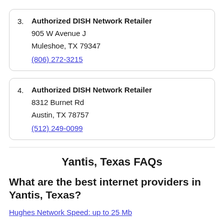3. Authorized DISH Network Retailer
905 W Avenue J
Muleshoe, TX 79347
(806) 272-3215
4. Authorized DISH Network Retailer
8312 Burnet Rd
Austin, TX 78757
(512) 249-0099
Yantis, Texas FAQs
What are the best internet providers in Yantis, Texas?
Hughes Network Speed: up to 25 Mb...